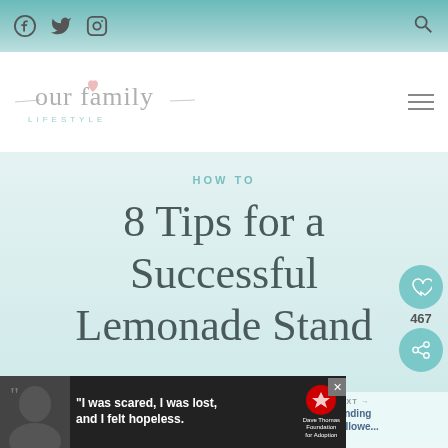Social media icons: Facebook, Twitter, Instagram; Search icon
[Figure (logo): Our Family Lifestyle cursive logo with LIFESTYLE subtitle and hamburger menu icon]
HOW TO
8 Tips for a Successful Lemonade Stand
November 12, 2021
[Figure (infographic): Like/share widget showing heart icon, count 467, and share icon]
[Figure (infographic): What's Next banner: Tips for Finding Perfect Hallowe... with avatar photo]
[Figure (infographic): Ad banner: I was scared, I was lost, and I felt hopeless. Dave Thomas Foundation for Adoption]